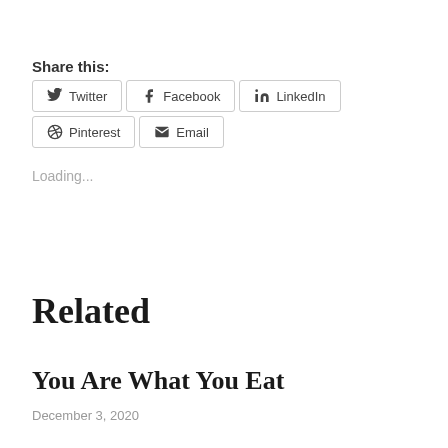Share this:
Twitter | Facebook | LinkedIn | Pinterest | Email
Loading...
Related
You Are What You Eat
December 3, 2020